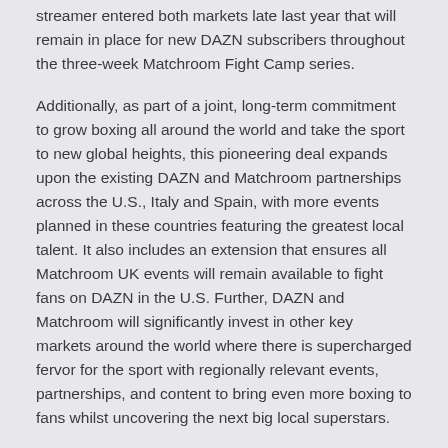streamer entered both markets late last year that will remain in place for new DAZN subscribers throughout the three-week Matchroom Fight Camp series.
Additionally, as part of a joint, long-term commitment to grow boxing all around the world and take the sport to new global heights, this pioneering deal expands upon the existing DAZN and Matchroom partnerships across the U.S., Italy and Spain, with more events planned in these countries featuring the greatest local talent. It also includes an extension that ensures all Matchroom UK events will remain available to fight fans on DAZN in the U.S. Further, DAZN and Matchroom will significantly invest in other key markets around the world where there is supercharged fervor for the sport with regionally relevant events, partnerships, and content to bring even more boxing to fans whilst uncovering the next big local superstars.
Moreover, DAZN and Matchroom are significantly investing in original content to keep fans, no matter where they are, on the constant pulse of everything in the world of boxing. To begin, the partnership will build on